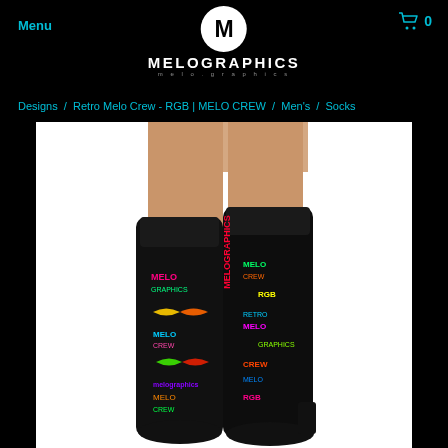MELOGRAPHICS
Menu
0
Designs / Retro Melo Crew - RGB | MELO CREW / Men's / Socks
[Figure (photo): Product photo of two colorful Melographics crew socks with RGB multicolor text and graphic designs on a black background, worn on a person's legs against a white background.]